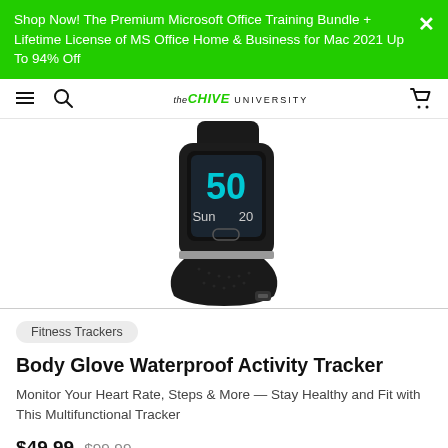Shop Now! The Premium Microsoft Office Training Bundle + Lifetime License of MS Office Home & Business for Mac 2021 Up To 94% Off
the CHIVE UNIVERSITY
[Figure (photo): Close-up photo of a black Body Glove fitness tracker / smartwatch showing a display with '50' in blue, 'Sun' and '20' on a dark touchscreen, with a black silicone band.]
Fitness Trackers
Body Glove Waterproof Activity Tracker
Monitor Your Heart Rate, Steps & More — Stay Healthy and Fit with This Multifunctional Tracker
$49.99  $99.99